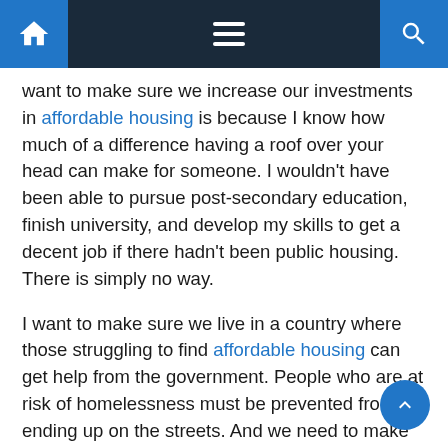Navigation bar with home, menu, and search icons
want to make sure we increase our investments in affordable housing is because I know how much of a difference having a roof over your head can make for someone. I wouldn't have been able to pursue post-secondary education, finish university, and develop my skills to get a decent job if there hadn't been public housing. There is simply no way.
I want to make sure we live in a country where those struggling to find affordable housing can get help from the government. People who are at risk of homelessness must be prevented from ending up on the streets. And we need to make sure we find permanent housing solutions for those who are currently there. It diminishes Canadian society when the last housing option for some people is to live on the streets. It is a failure for all of us.